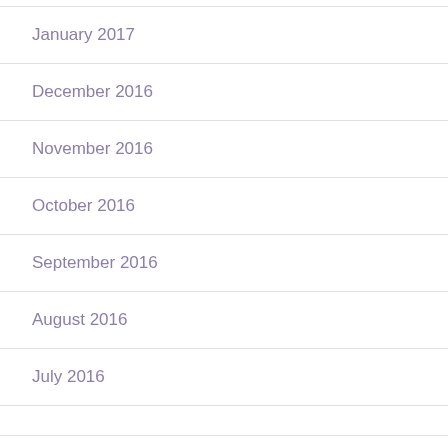January 2017
December 2016
November 2016
October 2016
September 2016
August 2016
July 2016